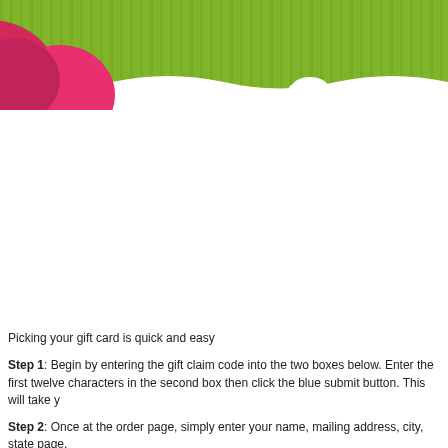[Figure (illustration): Decorative header banner with olive/lime green striped background and pink/red rounded shapes (gift card branding) on the left side and a small white cloud shape near center-right.]
Picking your gift card is quick and easy
Step 1: Begin by entering the gift claim code into the two boxes below. Enter the first twelve characters in the second box then click the blue submit button. This will take y
Step 2: Once at the order page, simply enter your name, mailing address, city, state page.